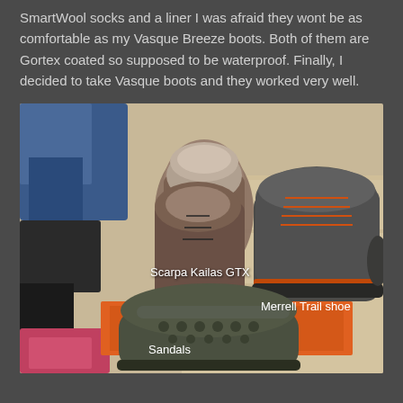SmartWool socks and a liner I was afraid they wont be as comfortable as my Vasque Breeze boots. Both of them are Gortex coated so supposed to be waterproof. Finally, I decided to take Vasque boots and they worked very well.
[Figure (photo): A photograph of three types of footwear laid out on a wooden floor with camping gear in the background: Scarpa Kailas GTX hiking boots (brown, high-ankle), Merrell Trail shoes (grey/black with orange laces), and dark olive/khaki Sandals (Crocs-style). Labels are overlaid on the image identifying each shoe.]